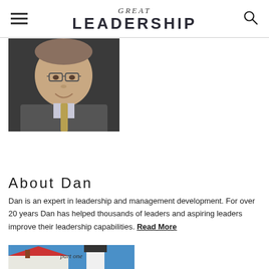GREAT LEADERSHIP
[Figure (photo): Headshot photo of a middle-aged man with glasses, wearing a suit jacket and tie, smiling, against a dark background]
About Dan
Dan is an expert in leadership and management development. For over 20 years Dan has helped thousands of leaders and aspiring leaders improve their leadership capabilities. Read More
[Figure (photo): Partial image showing a lighthouse with a red-roofed building and blue sky, with text 'part one' written in cursive]